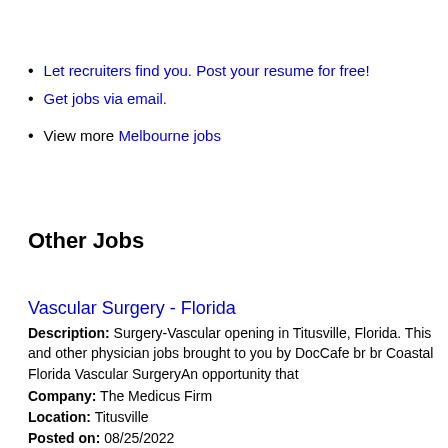Let recruiters find you. Post your resume for free!
Get jobs via email.
View more Melbourne jobs
Other Jobs
Vascular Surgery - Florida
Description: Surgery-Vascular opening in Titusville, Florida. This and other physician jobs brought to you by DocCafe br br Coastal Florida Vascular SurgeryAn opportunity that
Company: The Medicus Firm
Location: Titusville
Posted on: 08/25/2022